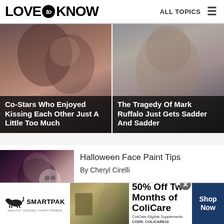LOVE to KNOW | ALL TOPICS
[Figure (photo): Two people kissing closeup with overlay text: Co-Stars Who Enjoyed Kissing Each Other Just A Little Too Much]
[Figure (photo): Closeup portrait of Mark Ruffalo with overlay text: The Tragedy Of Mark Ruffalo Just Gets Sadder And Sadder]
Halloween Face Paint Tips
By Cheryl Cirelli
[Figure (photo): Person with Halloween face paint / skull makeup]
[Figure (infographic): SmartPak advertisement: 50% Off Two Months of ColiCare. ColiCare Eligible Supplements. CODE: COLICARE10. Shop Now.]